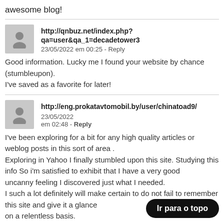awesome blog!
http://qnbuz.net/index.php?qa=user&qa_1=decadetower3
23/05/2022 em 00:25 - Reply

Good information. Lucky me I found your website by chance (stumbleupon).
I've saved as a favorite for later!
http://eng.prokatavtomobil.by/user/chinatoad9/  23/05/2022 em 02:48 - Reply

I've been exploring for a bit for any high quality articles or weblog posts in this sort of area .
Exploring in Yahoo I finally stumbled upon this site. Studying this info So i'm satisfied to exhibit that I have a very good uncanny feeling I discovered just what I needed.
I such a lot definitely will make certain to do not fail to remember this site and give it a glance
on a relentless basis.
Ir para o topo